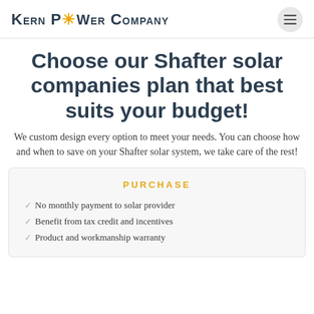Kern Power Company
Choose our Shafter solar companies plan that best suits your budget!
We custom design every option to meet your needs. You can choose how and when to save on your Shafter solar system, we take care of the rest!
PURCHASE
No monthly payment to solar provider
Benefit from tax credit and incentives
Product and workmanship warranty